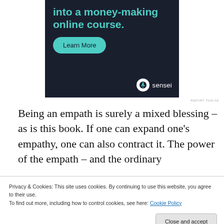[Figure (screenshot): Advertisement banner with dark navy background showing 'into a money-making online course.' headline in teal, a 'Learn More' teal rounded button, and the Sensei logo (white circle icon with tree symbol and 'sensei' text in white) in the bottom right.]
REPORT THIS AD
Being an empath is surely a mixed blessing – as is this book. If one can expand one’s empathy, one can also contract it. The power of the empath – and the ordinary
Privacy & Cookies: This site uses cookies. By continuing to use this website, you agree to their use.
To find out more, including how to control cookies, see here: Cookie Policy
Close and accept
acknowledge Orloff’s commitment to empathy.